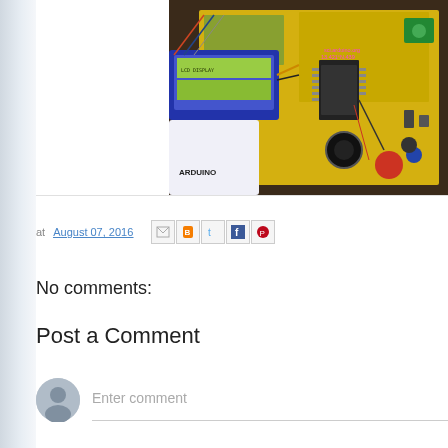[Figure (photo): Electronics/circuit board prototype with yellow PCB, LCD display, microcontroller, wiring and components on a wooden surface. An Arduino device with LCD screen is visible in the foreground.]
at August 07, 2016
[Figure (infographic): Social sharing icons: Email (M), Blogger (B), Twitter (t), Facebook (f), Pinterest (P)]
No comments:
Post a Comment
Enter comment